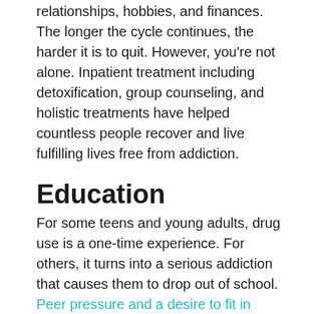relationships, hobbies, and finances. The longer the cycle continues, the harder it is to quit. However, you're not alone. Inpatient treatment including detoxification, group counseling, and holistic treatments have helped countless people recover and live fulfilling lives free from addiction.
Education
For some teens and young adults, drug use is a one-time experience. For others, it turns into a serious addiction that causes them to drop out of school. Peer pressure and a desire to fit in lead many young people to use addictive drugs such as cocaine and methamphetamines. Some use stimulants to help them study or excel